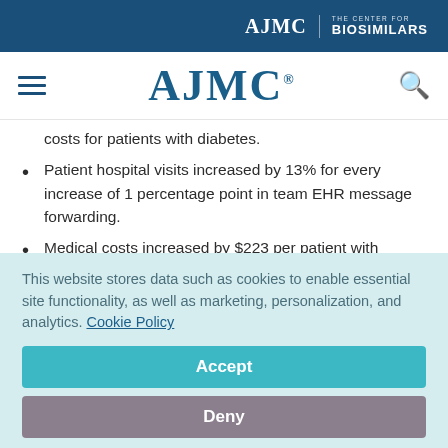AJMC | THE CENTER FOR BIOSIMILARS
AJMC
costs for patients with diabetes.
Patient hospital visits increased by 13% for every increase of 1 percentage point in team EHR message forwarding.
Medical costs increased by $223 per patient with diabetes for every increase of 1 percentage point in
This website stores data such as cookies to enable essential site functionality, as well as marketing, personalization, and analytics. Cookie Policy
Accept
Deny